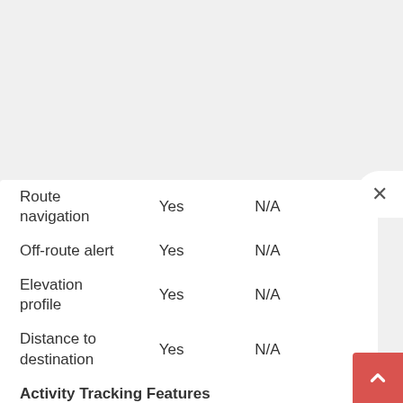| Feature | Device A | Device B |
| --- | --- | --- |
| Route navigation | Yes | N/A |
| Off-route alert | Yes | N/A |
| Elevation profile | Yes | N/A |
| Distance to destination | Yes | N/A |
| Activity Tracking Features |  |  |
| Step counter | Yes | Yes |
| Floors climbed | Yes | Yes |
| Sleep monitoring | Yes | Available via future firmware update |
| Active energy | Yes | Yes |
| Exercise time | Yes | Yes |